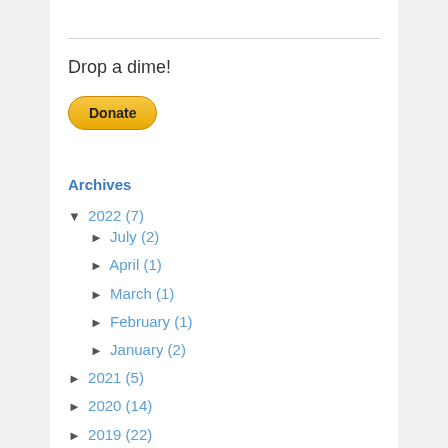Drop a dime!
[Figure (other): PayPal Donate button (yellow pill-shaped button with bold text 'Donate')]
Archives
▼ 2022 (7)
► July (2)
► April (1)
► March (1)
► February (1)
► January (2)
► 2021 (5)
► 2020 (14)
► 2019 (22)